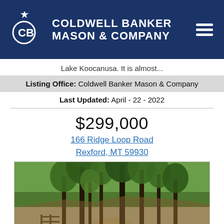[Figure (logo): Coldwell Banker Mason & Company logo with CB emblem on dark navy background, hamburger menu icon top right]
Lake Koocanusa. It is almost...
Listing Office: Coldwell Banker Mason & Company
Last Updated: April - 22 - 2022
$299,000
166 Ridge Loop Road Rexford, MT 59930
[Figure (photo): Outdoor property photo showing tall pine trees, wooden fence, dirt path, and wooded hillside landscape]